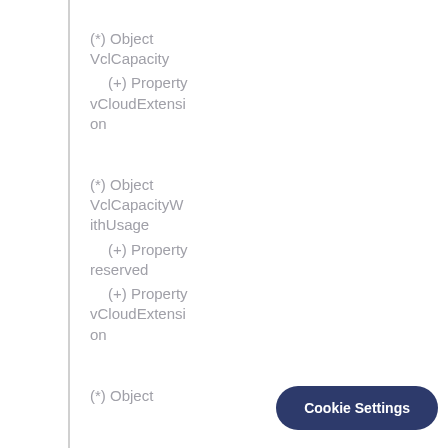(*) Object VclCapacity
(+) Property vCloudExtension
(*) Object VclCapacityWithUsage
(+) Property reserved
(+) Property vCloudExtension
(*) Object